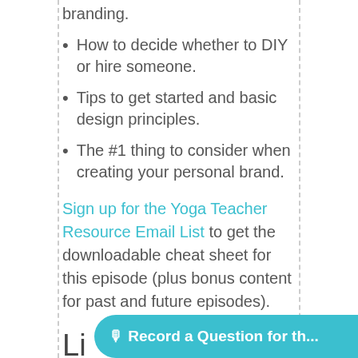branding.
How to decide whether to DIY or hire someone.
Tips to get started and basic design principles.
The #1 thing to consider when creating your personal brand.
Sign up for the Yoga Teacher Resource Email List to get the downloadable cheat sheet for this episode (plus bonus content for past and future episodes).
Li... Resources
[Figure (other): Teal rounded button overlay with microphone icon and text 'Record a Question for th...']